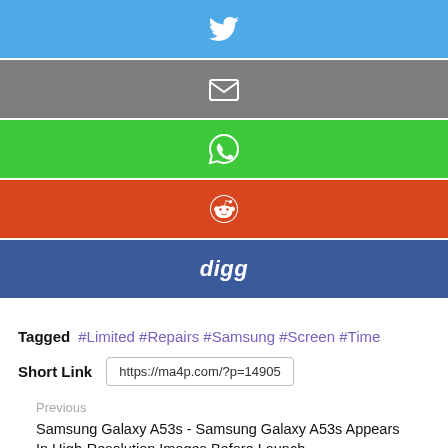[Figure (infographic): Twitter share button (blue background with white Twitter bird icon)]
[Figure (infographic): Email share button (gray background with white envelope icon)]
[Figure (infographic): WhatsApp share button (green background with white WhatsApp icon)]
[Figure (infographic): Reddit share button (red/orange background with white Reddit alien icon in circle)]
[Figure (infographic): Digg share button (blue background with 'digg' text in white italic)]
Tagged  #Limited #Repairs #Samsung #Screen #Time
Short Link  https://ma4p.com/?p=14905
Previous
Samsung Galaxy A53s - Samsung Galaxy A53s Appears In High-Resolution Images Before Launch